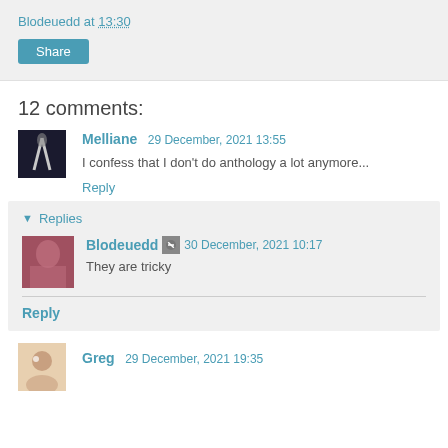Blodeuedd at 13:30
Share
12 comments:
Melliane  29 December, 2021 13:55
I confess that I don't do anthology a lot anymore...
Reply
Replies
Blodeuedd  30 December, 2021 10:17
They are tricky
Reply
Greg  29 December, 2021 19:35